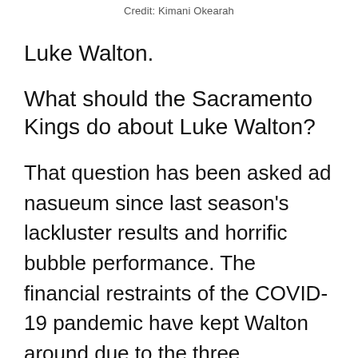Credit: Kimani Okearah
Luke Walton.
What should the Sacramento Kings do about Luke Walton?
That question has been asked ad nasueum since last season's lackluster results and horrific bubble performance. The financial restraints of the COVID-19 pandemic have kept Walton around due to the three remaining years on his contract, at least in the short-term. It's assumed that his future dismissal is all but set in stone, as